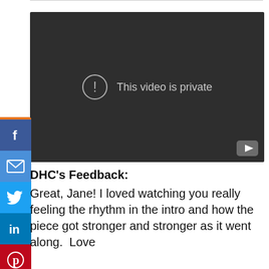[Figure (screenshot): Dark video player showing 'This video is private' message with a circle-exclamation icon and YouTube logo in bottom-right corner.]
[Figure (infographic): Vertical social sharing sidebar with Facebook, email, Twitter, LinkedIn, and Pinterest buttons on an orange background strip.]
DHC's Feedback:
Great, Jane! I loved watching you really feeling the rhythm in the intro and how the piece got stronger and stronger as it went along.  Love